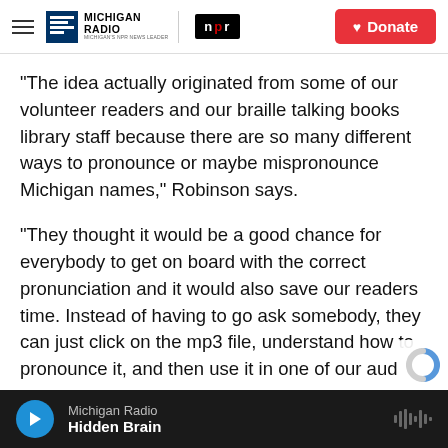Michigan Radio | NPR | Donate
"The idea actually originated from some of our volunteer readers and our braille talking books library staff because there are so many different ways to pronounce or maybe mispronounce Michigan names," Robinson says.
"They thought it would be a good chance for everybody to get on board with the correct pronunciation and it would also save our readers time. Instead of having to go ask somebody, they can just click on the mp3 file, understand how to pronounce it, and then use it in one of our aud
Michigan Radio | Hidden Brain